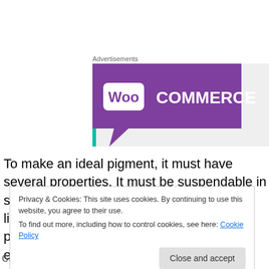Advertisements
[Figure (logo): WooCommerce advertisement banner with purple speech-bubble shape on grey background]
To make an ideal pigment, it must have several properties. It must be suspendable in some sort of medium, such as water or linseed oil. This means it forms fairly large particles that are opaque to light yet small enough to not
Privacy & Cookies: This site uses cookies. By continuing to use this website, you agree to their use.
To find out more, including how to control cookies, see here: Cookie Policy
circumstances, including minor changes in pH or humidity